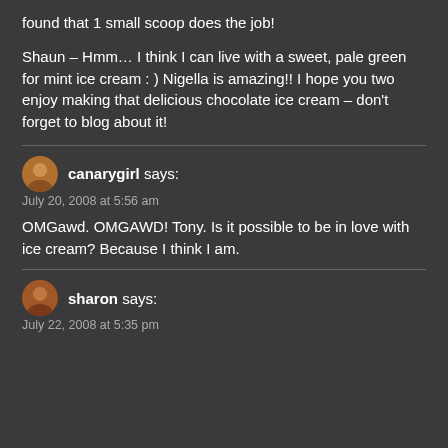found that 1 small scoop does the job!
Shaun – Hmm… I think I can live with a sweet, pale green for mint ice cream : ) Nigella is amazing!! I hope you two enjoy making that delicious chocolate ice cream – don't forget to blog about it!
canarygirl says:
July 20, 2008 at 5:56 am
OMGawd. OMGAWD! Tony. Is it possible to be in love with ice cream? Because I think I am.
sharon says:
July 22, 2008 at 5:35 pm